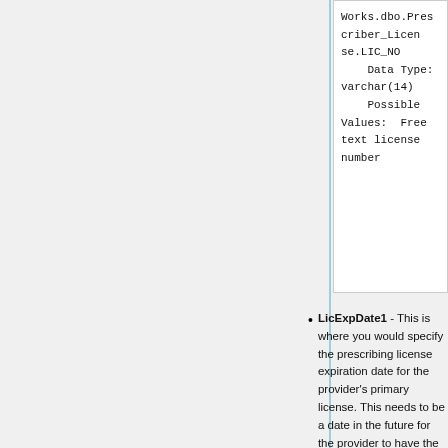Works.dbo.Prescriber_License.LIC_NO
    Data Type: varchar(14)
    Possible Values:  Free text license number
LicExpDate1 - This is where you would specify the prescribing license expiration date for the provider's primary license. This needs to be a date in the future for the provider to have the ability to prescribe in the defined state.
Storage Location: Works.dbo.Prescriber_License.LIC_EXP_DT
    Data Type:  DateTime
    Possible Values: Valid Date